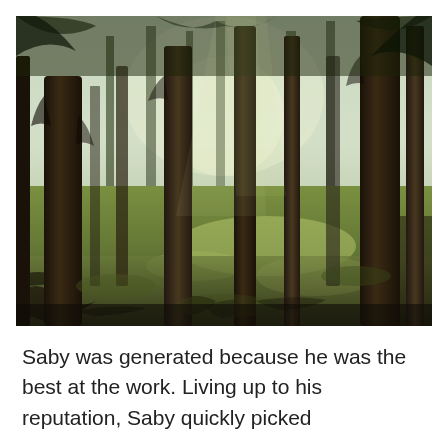[Figure (photo): A forest scene with tall conifer trees, dappled sunlight filtering through the canopy onto a green mossy ground with tree roots and scattered undergrowth.]
Saby was generated because he was the best at the work. Living up to his reputation, Saby quickly picked